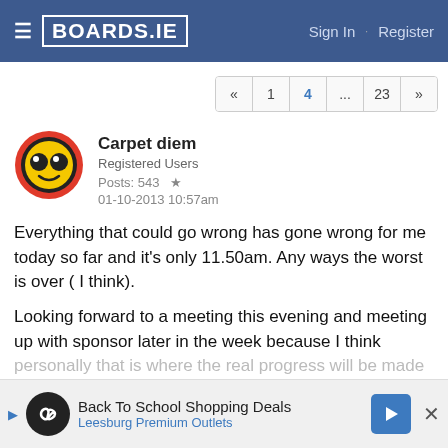BOARDS.IE  Sign In · Register
« 1 4 ... 23 »
Carpet diem
Registered Users
Posts: 543 ★
01-10-2013 10:57am
Everything that could go wrong has gone wrong for me today so far and it's only 11.50am. Any ways the worst is over ( I think).
Looking forward to a meeting this evening and meeting up with sponsor later in the week because I think personally that is where the real progress will be made
[Figure (other): Advertisement banner: Back To School Shopping Deals - Leesburg Premium Outlets]